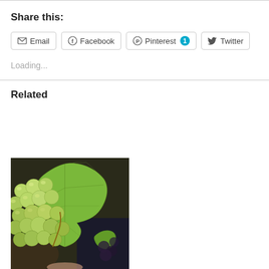Share this:
Email  Facebook  Pinterest 1  Twitter
Loading...
Related
[Figure (photo): Close-up photograph of green grapes on a vine with a large green grape leaf in the background and dark areas in the corners.]